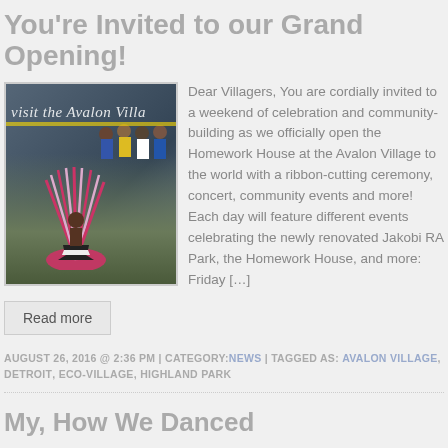You're Invited to our Grand Opening!
[Figure (photo): Group photo of community members in front of Avalon Village building with text overlay 'visit the Avalon Villa']
Dear Villagers, You are cordially invited to a weekend of celebration and community-building as we officially open the Homework House at the Avalon Village to the world with a ribbon-cutting ceremony, concert, community events and more! Each day will feature different events celebrating the newly renovated Jakobi RA Park, the Homework House, and more: Friday […]
Read more
AUGUST 26, 2016 @ 2:36 PM | CATEGORY: NEWS | TAGGED AS: AVALON VILLAGE, DETROIT, ECO-VILLAGE, HIGHLAND PARK
My, How We Danced